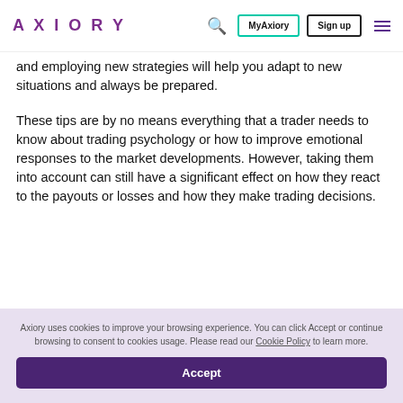AXIORY | MyAxiory | Sign up
and employing new strategies will help you adapt to new situations and always be prepared.
These tips are by no means everything that a trader needs to know about trading psychology or how to improve emotional responses to the market developments. However, taking them into account can still have a significant effect on how they react to the payouts or losses and how they make trading decisions.
Axiory uses cookies to improve your browsing experience. You can click Accept or continue browsing to consent to cookies usage. Please read our Cookie Policy to learn more.